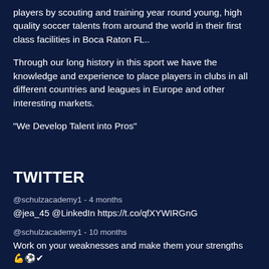players by scouting and training year round young, high quality soccer talents from around the world in their first class facilities in Boca Raton FL..
Through our long history in this sport we have the knowledge and experience to place players in clubs in all different countries and leagues in Europe and other interesting markets.
“We Develop Talent into Pros”
TWITTER
@schulzacademy1 - 4 months
@jea_45 @LinkedIn https://t.co/qfXYWIRGnG
@schulzacademy1 - 10 months
Work on your weaknesses and make them your strengths 💪⚽✔